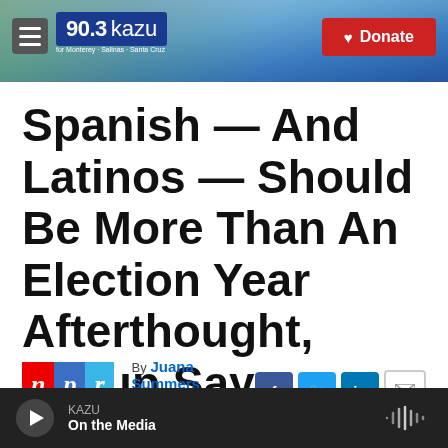90.3 KAZU — for Monterey · Salinas · Santa Cruz | Donate
Spanish — And Latinos — Should Be More Than An Election Year Afterthought, Group Says
By Juana Summers
Published February 19
KAZU — On the Media